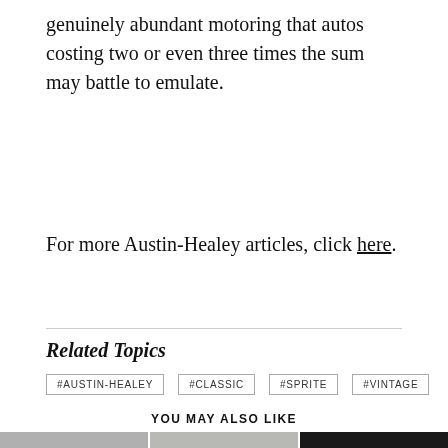genuinely abundant motoring that autos costing two or even three times the sum may battle to emulate.
For more Austin-Healey articles, click here.
Related Topics
#AUSTIN-HEALEY
#CLASSIC
#SPRITE
#VINTAGE
YOU MAY ALSO LIKE
[Figure (photo): Three car photos shown in a row at the bottom of the page, partially cropped]